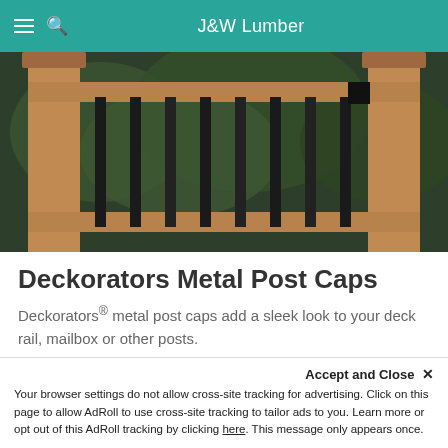J&W Lumber
[Figure (photo): Wood deck railing with black metal balusters and wood posts, photographed from below showing posts and rail cap against tree background]
Deckorators Metal Post Caps
Deckorators® metal post caps add a sleek look to your deck rail, mailbox or other posts.
Wood and Glass Post caps
Accept and Close ✕
Your browser settings do not allow cross-site tracking for advertising. Click on this page to allow AdRoll to use cross-site tracking to tailor ads to you. Learn more or opt out of this AdRoll tracking by clicking here. This message only appears once.